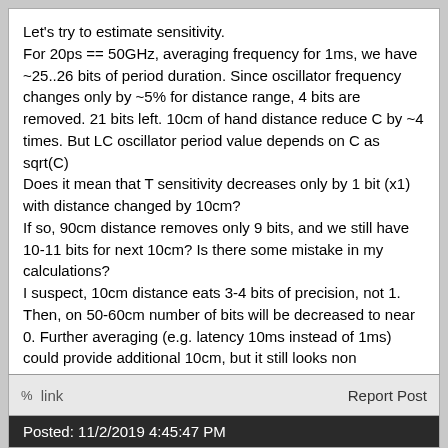Let's try to estimate sensitivity.
For 20ps == 50GHz, averaging frequency for 1ms, we have ~25..26 bits of period duration. Since oscillator frequency changes only by ~5% for distance range, 4 bits are removed. 21 bits left. 10cm of hand distance reduce C by ~4 times. But LC oscillator period value depends on C as sqrt(C)
Does it mean that T sensitivity decreases only by 1 bit (x1) with distance changed by 10cm?
If so, 90cm distance removes only 9 bits, and we still have 10-11 bits for next 10cm? Is there some mistake in my calculations?
I suspect, 10cm distance eats 3-4 bits of precision, not 1. Then, on 50-60cm number of bits will be decreased to near 0. Further averaging (e.g. latency 10ms instead of 1ms) could provide additional 10cm, but it still looks non impressive. I belive, 50GHz counter should be enough for theremin. What's wrong?
% link    Report Post
Posted: 11/2/2019 4:45:47 PM